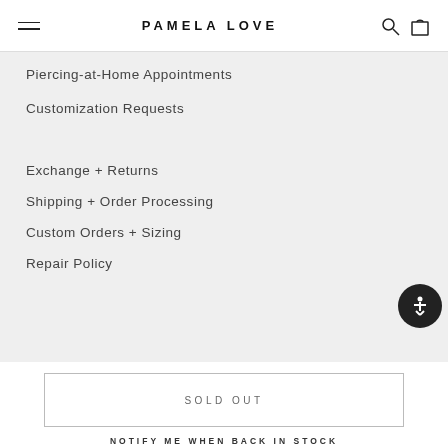PAMELA LOVE
Piercing-at-Home Appointments
Customization Requests
Exchange + Returns
Shipping + Order Processing
Custom Orders + Sizing
Repair Policy
SOLD OUT
NOTIFY ME WHEN BACK IN STOCK